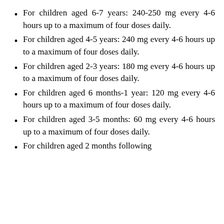For children aged 6-7 years: 240-250 mg every 4-6 hours up to a maximum of four doses daily.
For children aged 4-5 years: 240 mg every 4-6 hours up to a maximum of four doses daily.
For children aged 2-3 years: 180 mg every 4-6 hours up to a maximum of four doses daily.
For children aged 6 months-1 year: 120 mg every 4-6 hours up to a maximum of four doses daily.
For children aged 3-5 months: 60 mg every 4-6 hours up to a maximum of four doses daily.
For children aged 2 months following